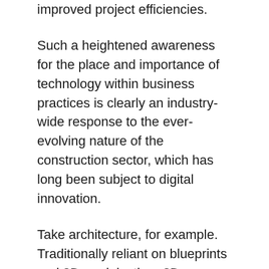improved project efficiencies.
Such a heightened awareness for the place and importance of technology within business practices is clearly an industry-wide response to the ever-evolving nature of the construction sector, which has long been subject to digital innovation.
Take architecture, for example. Traditionally reliant on blueprints and 2D models, then 3D computer-aided design, the profession has been repeatedly transformed by technological advances. The sector has now embraced BIM, with 70% of architectural practices now using the technology, as well as digital innovations such as Microsoft HoloLens, which is transforming the way architects present designs – bringing them to life and allowing colleagues and